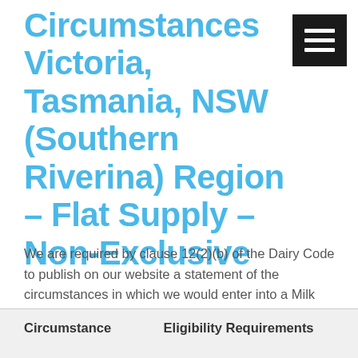Circumstances Victoria, Tasmania, NSW (Southern Riverina) Region – Flat Supply – Non-Exclusive
We are required by clause 12(2)(b) of the Dairy Code to publish on our website a statement of the circumstances in which we would enter into a Milk Supply Agreement with suppliers in the standard form for each region.
| Circumstance | Eligibility Requirements |
| --- | --- |